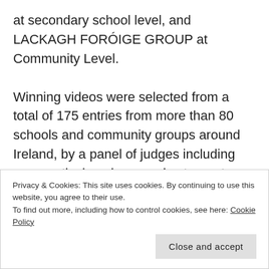at secondary school level, and LACKAGH FORÓIGE GROUP at Community Level.
Winning videos were selected from a total of 175 entries from more than 80 schools and community groups around Ireland, by a panel of judges including aeronautical engineer and astronaut–candidate Norah Patten, BT Young Scientist and Technologist of the Year 2018,
Privacy & Cookies: This site uses cookies. By continuing to use this website, you agree to their use.
To find out more, including how to control cookies, see here: Cookie Policy
Close and accept
...this annual competition and...